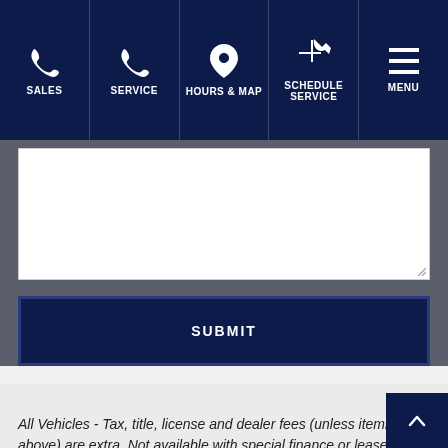SALES | SERVICE | HOURS & MAP | SCHEDULE SERVICE | MENU
[Figure (screenshot): Text area input field (empty, resizable) for a contact/inquiry form]
SUBMIT
All Vehicles - Tax, title, license and dealer fees (unless itemized above) are extra. Not available with special finance or lease offers.